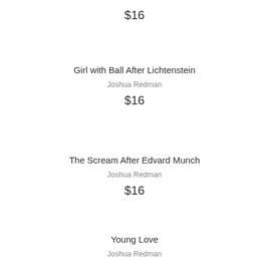$16
Girl with Ball After Lichtenstein
Joshua Redman
$16
The Scream After Edvard Munch
Joshua Redman
$16
Young Love
Joshua Redman